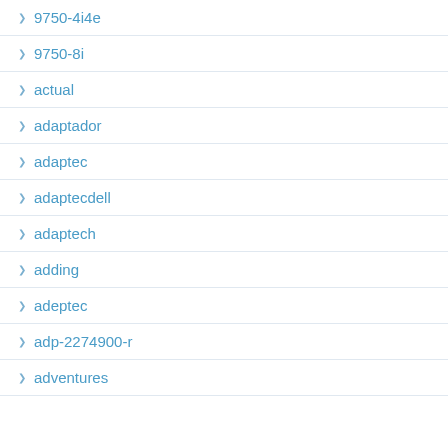9750-4i4e
9750-8i
actual
adaptador
adaptec
adaptecdell
adaptech
adding
adeptec
adp-2274900-r
adventures